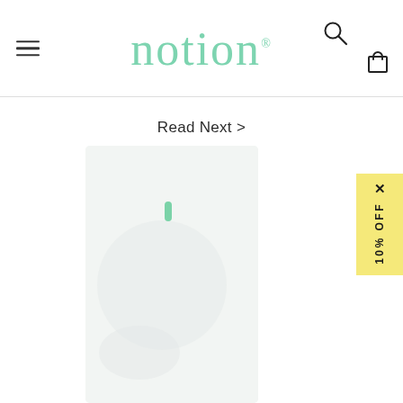notion — website header with hamburger menu, logo, search icon, and cart icon
Read Next >
[Figure (photo): White/light grey product device (Notion smart sensor) on a light background]
× 10% OFF